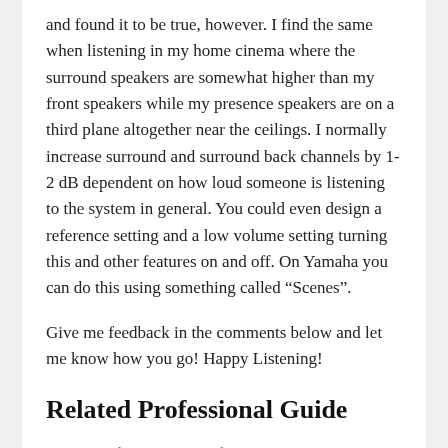and found it to be true, however. I find the same when listening in my home cinema where the surround speakers are somewhat higher than my front speakers while my presence speakers are on a third plane altogether near the ceilings. I normally increase surround and surround back channels by 1-2 dB dependent on how loud someone is listening to the system in general. You could even design a reference setting and a low volume setting turning this and other features on and off. On Yamaha you can do this using something called “Scenes”.
Give me feedback in the comments below and let me know how you go! Happy Listening!
Related Professional Guide
YPAO – The Lost Manual